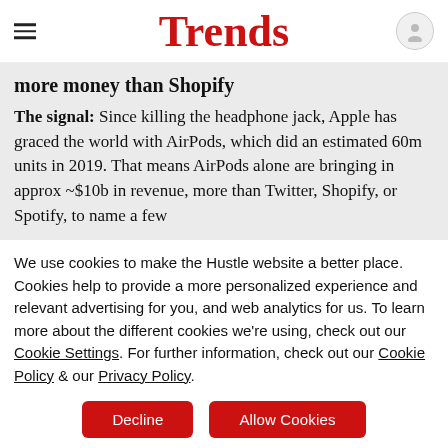Trends
more money than Shopify
The signal: Since killing the headphone jack, Apple has graced the world with AirPods, which did an estimated 60m units in 2019. That means AirPods alone are bringing in approx ~$10b in revenue, more than Twitter, Shopify, or Spotify, to name a few
We use cookies to make the Hustle website a better place. Cookies help to provide a more personalized experience and relevant advertising for you, and web analytics for us. To learn more about the different cookies we're using, check out our Cookie Settings. For further information, check out our Cookie Policy & our Privacy Policy.
Decline | Allow Cookies